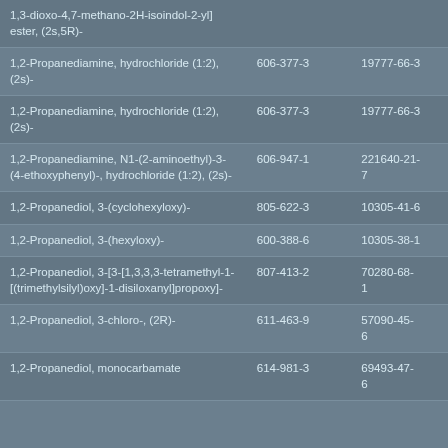| 1,3-dioxo-4,7-methano-2H-isoindol-2-yl] ester, (2s,5R)- |  |  |
| 1,2-Propanediamine, hydrochloride (1:2), (2s)- | 606-377-3 | 19777-66-3 |
| 1,2-Propanediamine, hydrochloride (1:2), (2s)- | 606-377-3 | 19777-66-3 |
| 1,2-Propanediamine, N1-(2-aminoethyl)-3-(4-ethoxyphenyl)-, hydrochloride (1:2), (2s)- | 606-947-1 | 221640-21-7 |
| 1,2-Propanediol, 3-(cyclohexyloxy)- | 805-622-3 | 10305-41-6 |
| 1,2-Propanediol, 3-(hexyloxy)- | 600-388-6 | 10305-38-1 |
| 1,2-Propanediol, 3-[3-[1,3,3,3-tetramethyl-1-[(trimethylsilyl)oxy]-1-disiloxanyl]propoxy]- | 807-413-2 | 70280-68-1 |
| 1,2-Propanediol, 3-chloro-, (2R)- | 611-463-9 | 57090-45-6 |
| 1,2-Propanediol, monocarbamate | 614-981-3 | 69493-47-6 |